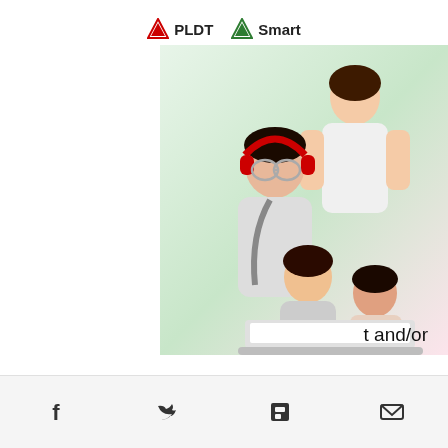[Figure (logo): PLDT and Smart logos side by side at top center]
[Figure (photo): Family of four people gathered around a laptop, with a green and pink gradient background. A woman standing behind, a young man with headphones and glasses, a girl and another person looking at a laptop screen.]
For participating Acer Aspire 3, Acer Aspire 5, and Acer Aspire 7 models, get up to Php1,000 discount and/or up to Php 3,000 additional... Acer Swift 3 ...t and/or ...